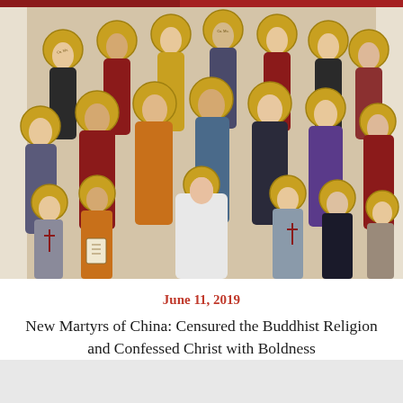[Figure (illustration): Religious icon painting depicting the New Martyrs of China — a large group of saints with golden halos, wearing robes in red, gray, black, and blue, some holding crosses, a book, or scroll. Set against a light background in the style of Orthodox Christian iconography.]
June 11, 2019
New Martyrs of China: Censured the Buddhist Religion and Confessed Christ with Boldness
About Us